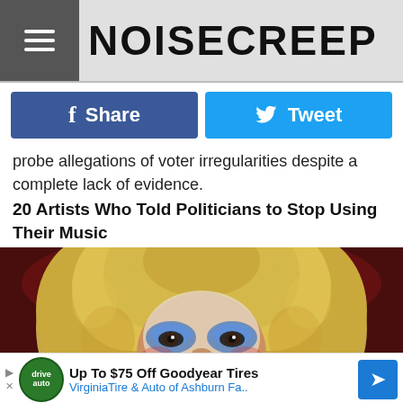NOISECREEP
Share
Tweet
probe allegations of voter irregularities despite a complete lack of evidence.
20 Artists Who Told Politicians to Stop Using Their Music
[Figure (photo): A rock performer with large curly blonde hair, theatrical face makeup with blue eye shadow and red lips, mouth open in a scream or aggressive expression, against a dark red background]
Up To $75 Off Goodyear Tires VirginiaTire & Auto of Ashburn Fa..